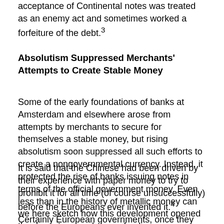acceptance of Continental notes was treated as an enemy act and sometimes worked a forfeiture of the debt.3
Absolutism Suppressed Merchants' Attempts to Create Stable Money
Some of the early foundations of banks at Amsterdam and elsewhere arose from attempts by merchants to secure for themselves a stable money, but rising absolutism soon suppressed all such efforts to create a nongovernmental currency. Instead, it protected the rise of banks issuing notes in terms of the official government money. Even less than in the history of metallic money can we here sketch how this development opened the doors to new abuses of policy.
It is said that the Chinese had been driven by their experience with paper money to try to prohibit it for all time (of course unsuccessfully) before the Europeans ever invented it.4 Certainly European governments, once they knew about this possibility, began to exploit it ruthlessly, not to provide people with good money, but to gain as much as possible from it for their revenue.